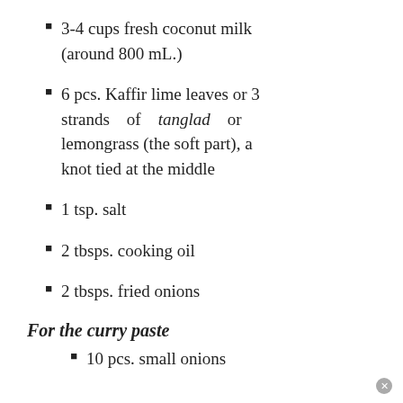3-4 cups fresh coconut milk (around 800 mL.)
6 pcs. Kaffir lime leaves or 3 strands of tanglad or lemongrass (the soft part), a knot tied at the middle
1 tsp. salt
2 tbsps. cooking oil
2 tbsps. fried onions
For the curry paste
10 pcs. small onions